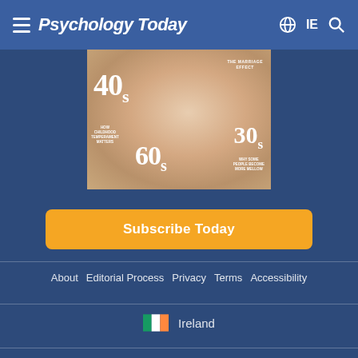Psychology Today — IE
[Figure (photo): Psychology Today magazine cover showing a woman's face close-up with text overlays: 40s, 30s, 60s, The Marriage Effect, How Childhood Temperament Matters, Why Some People Become More Mellow]
Subscribe Today
About   Editorial Process   Privacy   Terms   Accessibility
Ireland